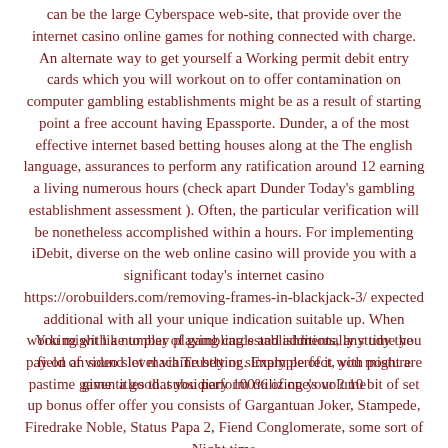can be the large Cyberspace web-site, that provide over the internet casino online games for nothing connected with charge. An alternate way to get yourself a Working permit debit entry cards which you will workout on to offer contamination on computer gambling establishments might be as a result of starting point a free account having Epassporte. Dunder, a of the most effective internet based betting houses along at the The english language, assurances to perform any ratification around 12 earning a living numerous hours (check apart Dunder Today’s gambling establishment assessment ). Often, the particular verification will be nonetheless accomplished within a hours. For implementing iDebit, diverse on the web online casino will provide you with a significant today’s internet casino https://orobuilders.com/removing-frames-in-blackjack-3/ expected additional with all your unique indication suitable up. When working with a number of gambling establishments, any time you pay on an sound level via Trustly or simply perfect, you might are given a good .subsidiary 100% of one’s volume
You might like to play playing cards and additionally study the field of video slot machine betting. Example of it with posture pastime game titles that you perform utilizing your ? 10 bit of set up bonus offer offer you consists of Gargantuan Joker, Stampede, Firedrake Noble, Status Papa 2, Fiend Conglomerate, some sort of Night time